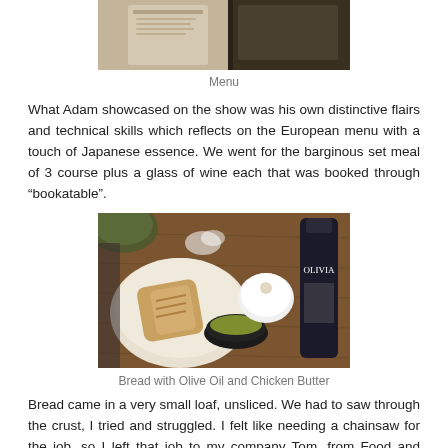[Figure (photo): A cropped top portion of a restaurant menu card visible at the top of the page.]
Menu
What Adam showcased on the show was his own distinctive flairs and technical skills which reflects on the European menu with a touch of Japanese essence. We went for the barginous set meal of 3 course plus a glass of wine each that was booked through "bookatable".
[Figure (photo): A table setting showing bread in a white cloth bag, a small black bowl of olive oil, a round white object (chicken butter), and a dark bottle of Olivia olive oil on a wooden table.]
Bread with Olive Oil and Chicken Butter
Bread came in a very small loaf, unsliced. We had to saw through the crust, I tried and struggled. I felt like needing a chainsaw for the job, so I left that job to my company Tom, from Food and Drinks Noob blog. Beside the hard crust, it was decently soft inside with a chicken butter. It tasted like chicken, chicken skin to be more precise and the thought of it is heart attacking, but too amazing to not consume. A heavenly indulgence... So, it's